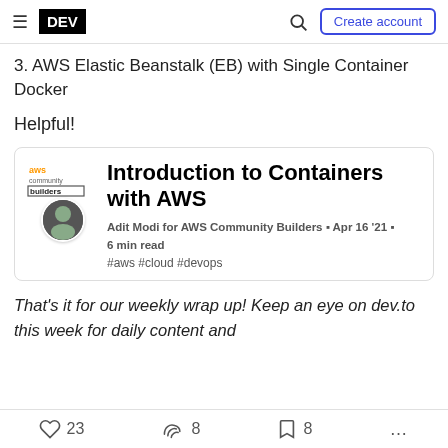DEV | Create account
3. AWS Elastic Beanstalk (EB) with Single Container Docker
Helpful!
[Figure (other): Article card: Introduction to Containers with AWS by Adit Modi for AWS Community Builders, Apr 16 '21, 6 min read, #aws #cloud #devops]
That's it for our weekly wrap up! Keep an eye on dev.to this week for daily content and
23  8  8  ...